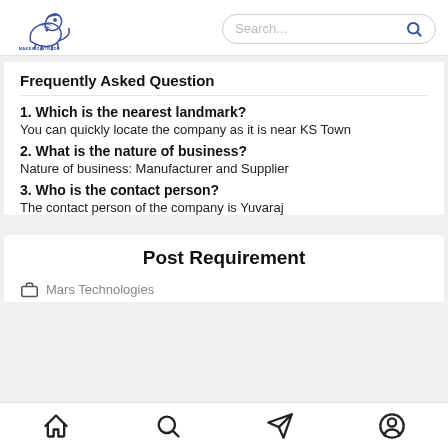MAKEINDIATRADE [logo with lion] Search...
Frequently Asked Question
1. Which is the nearest landmark?
You can quickly locate the company as it is near KS Town
2. What is the nature of business?
Nature of business: Manufacturer and Supplier
3. Who is the contact person?
The contact person of the company is Yuvaraj
Post Requirement
Mars Technologies